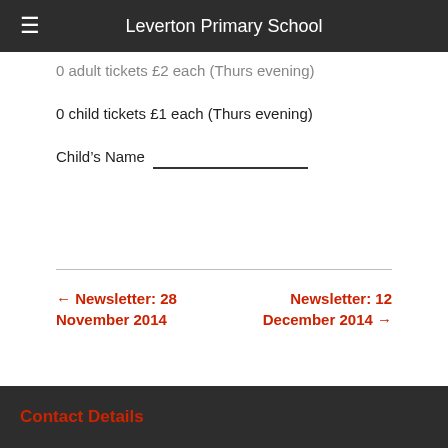Leverton Primary School
0 adult tickets £2 each (Thurs evening)
0 child tickets £1 each (Thurs evening)
Child's Name _______________
← Newsletter: 28 November 2014
Newsletter: 12 December 2014 →
Contact Details